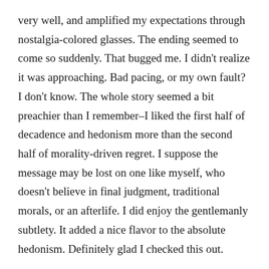very well, and amplified my expectations through nostalgia-colored glasses. The ending seemed to come so suddenly. That bugged me. I didn't realize it was approaching. Bad pacing, or my own fault? I don't know. The whole story seemed a bit preachier than I remember–I liked the first half of decadence and hedonism more than the second half of morality-driven regret. I suppose the message may be lost on one like myself, who doesn't believe in final judgment, traditional morals, or an afterlife. I did enjoy the gentlemanly subtlety. It added a nice flavor to the absolute hedonism. Definitely glad I checked this out.
RATINGS:
Clint: Netflix: 3/5 stars. IMDB: 7.2/10 (slightly better than the average 7).